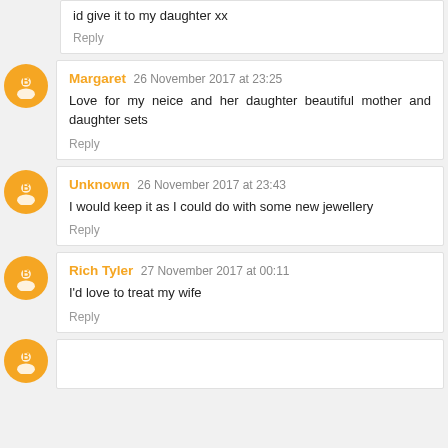id give it to my daughter xx
Reply
Margaret 26 November 2017 at 23:25
Love for my neice and her daughter beautiful mother and daughter sets
Reply
Unknown 26 November 2017 at 23:43
I would keep it as I could do with some new jewellery
Reply
Rich Tyler 27 November 2017 at 00:11
I'd love to treat my wife
Reply